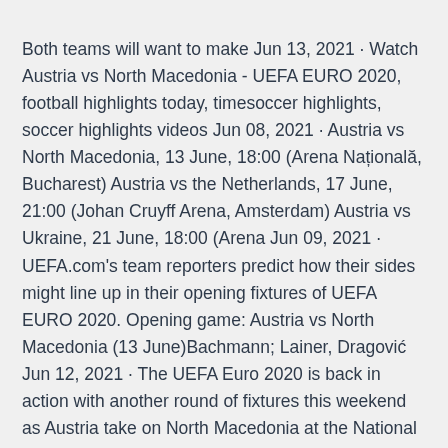Both teams will want to make Jun 13, 2021 · Watch Austria vs North Macedonia - UEFA EURO 2020, football highlights today, timesoccer highlights, soccer highlights videos Jun 08, 2021 · Austria vs North Macedonia, 13 June, 18:00 (Arena Națională, Bucharest) Austria vs the Netherlands, 17 June, 21:00 (Johan Cruyff Arena, Amsterdam) Austria vs Ukraine, 21 June, 18:00 (Arena Jun 09, 2021 · UEFA.com's team reporters predict how their sides might line up in their opening fixtures of UEFA EURO 2020. Opening game: Austria vs North Macedonia (13 June)Bachmann; Lainer, Dragović Jun 12, 2021 · The UEFA Euro 2020 is back in action with another round of fixtures this weekend as Austria take on North Macedonia at the National Park on Sunday. Austria have good players in their ranks and